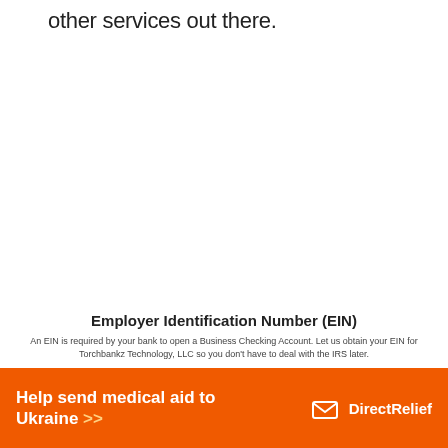other services out there.
Employer Identification Number (EIN)
An EIN is required by your bank to open a Business Checking Account. Let us obtain your EIN for Torchbankz Technology, LLC so you don't have to deal with the IRS later.
An EIN is required in all states.
[Figure (photo): Dark photographic image, partially visible at bottom right]
[Figure (infographic): Orange advertisement banner: Help send medical aid to Ukraine >> with Direct Relief logo]